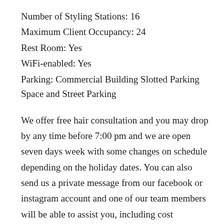Number of Styling Stations: 16
Maximum Client Occupancy: 24
Rest Room: Yes
WiFi-enabled: Yes
Parking: Commercial Building Slotted Parking Space and Street Parking
We offer free hair consultation and you may drop by any time before 7:00 pm and we are open seven days week with some changes on schedule depending on the holiday dates. You can also send us a private message from our facebook or instagram account and one of our team members will be able to assist you, including cost estimates of our services. Please note that all quotes provided to you are general estimation purposes only. We will still need to see and